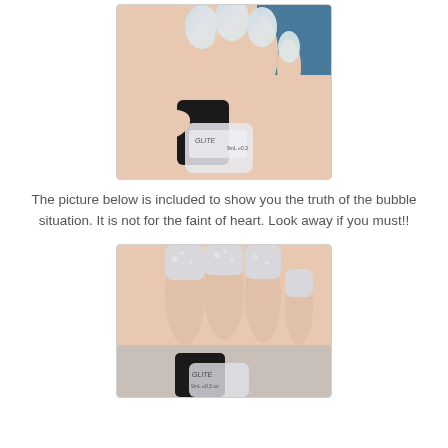[Figure (photo): Close-up photo of a hand holding a nail polish bottle (labeled GLITTER, 9mL) with nails painted in a pale iridescent white/holographic shimmer polish]
The picture below is included to show you the truth of the bubble situation. It is not for the faint of heart. Look away if you must!!
[Figure (photo): Close-up photo of a hand with nails painted in pale grey/white nail polish showing bubbles, with a nail polish bottle (GLITTER brand) visible at the bottom]